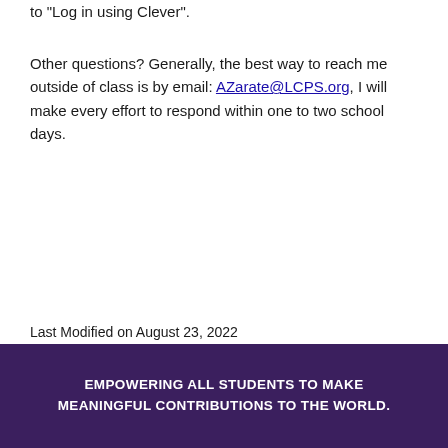to "Log in using Clever".
Other questions? Generally, the best way to reach me outside of class is by email: AZarate@LCPS.org, I will make every effort to respond within one to two school days.
Last Modified on August 23, 2022
EMPOWERING ALL STUDENTS TO MAKE MEANINGFUL CONTRIBUTIONS TO THE WORLD.